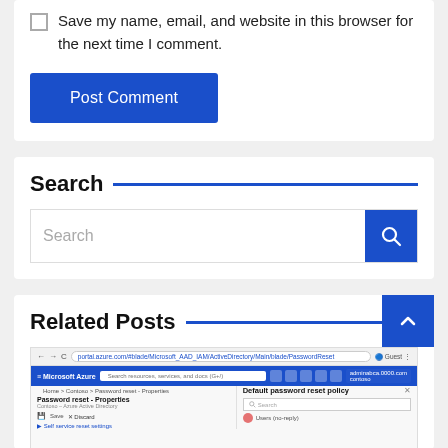Save my name, email, and website in this browser for the next time I comment.
Post Comment
Search
Search
Related Posts
[Figure (screenshot): Screenshot of Microsoft Azure portal showing Password reset - Properties page with Default password reset policy panel open]